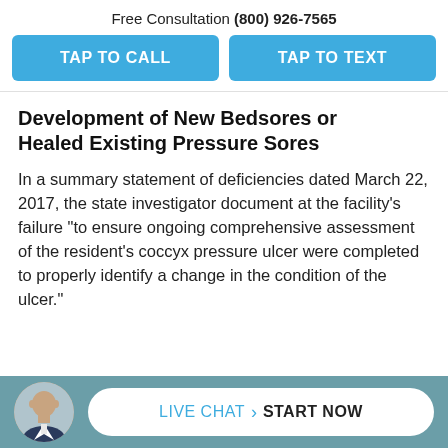Free Consultation (800) 926-7565
TAP TO CALL
TAP TO TEXT
Development of New Bedsores or Healed Existing Pressure Sores
In a summary statement of deficiencies dated March 22, 2017, the state investigator document at the facility’s failure “to ensure ongoing comprehensive assessment of the resident’s coccyx pressure ulcer were completed to properly identify a change in the condition of the ulcer.”
[Figure (photo): Circular avatar photo of a bald man in a suit jacket]
LIVE CHAT › START NOW